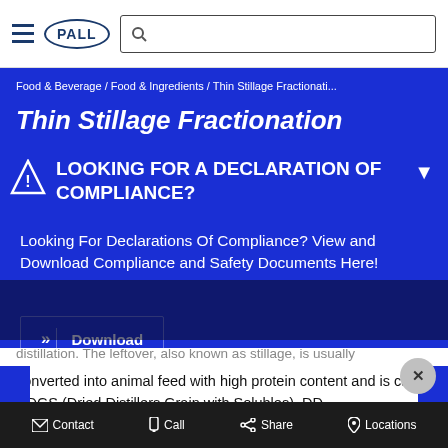PALL — navigation bar with hamburger menu, PALL logo, and search box
Food & Beverage / Food & Ingredients / Thin Stillage Fractionati...
Thin Stillage Fractionation
LOOKING FOR A DECLARATION OF COMPLIANCE?
Looking For Declarations Of Compliance? View and Download Compliance and Safety Documents Here!
Download
distillation. The leftover, also known as stillage, is usually converted into animal feed with high protein content and is called DDGS (Dried Distillers Grain with Solubles). DD
Contact  Call  Share  Locations